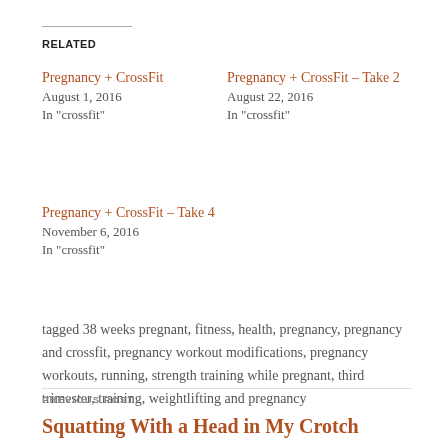RELATED
Pregnancy + CrossFit
August 1, 2016
In "crossfit"
Pregnancy + CrossFit – Take 2
August 22, 2016
In "crossfit"
Pregnancy + CrossFit – Take 4
November 6, 2016
In "crossfit"
tagged 38 weeks pregnant, fitness, health, pregnancy, pregnancy and crossfit, pregnancy workout modifications, pregnancy workouts, running, strength training while pregnant, third trimester, training, weightlifting and pregnancy
PREVIOUS POST
Squatting With a Head in My Crotch